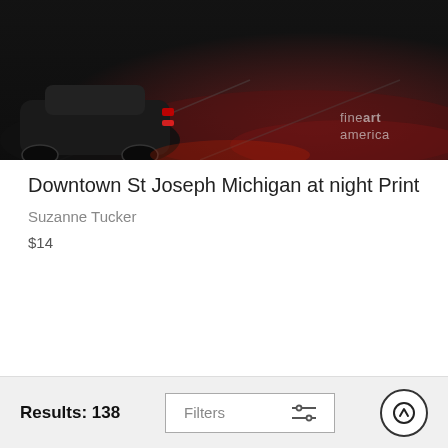[Figure (photo): Photograph of downtown St Joseph Michigan at night, showing a black car on a wet road with red tail lights and a 'fine art america' watermark in the lower right of the image.]
Downtown St Joseph Michigan at night Print
Suzanne Tucker
$14
Results: 138   Filters   [scroll to top button]